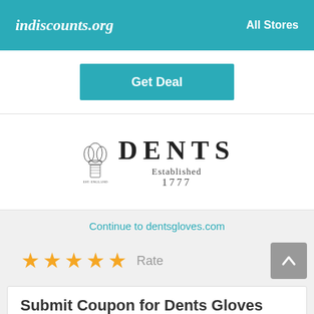indiscounts.org    All Stores
Get Deal
[Figure (logo): Dents gloves brand logo with royal emblem, text DENTS Established 1777]
Continue to dentsgloves.com
★★★★★  Rate
Submit Coupon for Dents Gloves